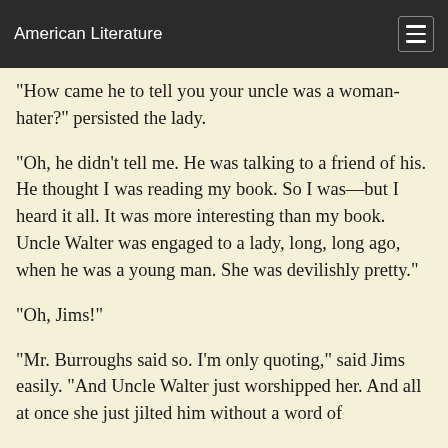American Literature
"How came he to tell you your uncle was a woman-hater?" persisted the lady.
"Oh, he didn't tell me. He was talking to a friend of his. He thought I was reading my book. So I was—but I heard it all. It was more interesting than my book. Uncle Walter was engaged to a lady, long, long ago, when he was a young man. She was devilishly pretty."
"Oh, Jims!"
"Mr. Burroughs said so. I'm only quoting," said Jims easily. "And Uncle Walter just worshipped her. And all at once she just jilted him without a word of